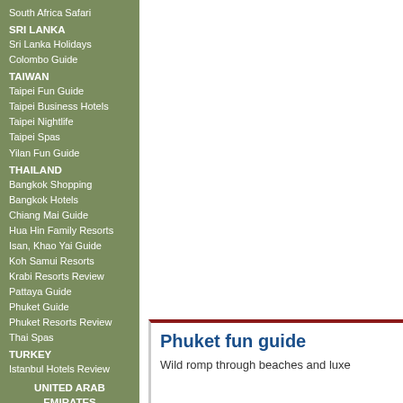South Africa Safari
SRI LANKA
Sri Lanka Holidays
Colombo Guide
TAIWAN
Taipei Fun Guide
Taipei Business Hotels
Taipei Nightlife
Taipei Spas
Yilan Fun Guide
THAILAND
Bangkok Shopping
Bangkok Hotels
Chiang Mai Guide
Hua Hin Family Resorts
Isan, Khao Yai Guide
Koh Samui Resorts
Krabi Resorts Review
Pattaya Guide
Phuket Guide
Phuket Resorts Review
Thai Spas
TURKEY
Istanbul Hotels Review
UNITED ARAB EMIRATES
Abu Dhabi Business Hotels
Dubai Guide
VIETNAM
Phuket fun guide
Wild romp through beaches and luxe...